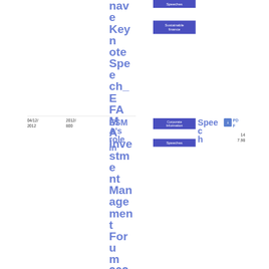nave Keynote Speech_EFAMA Investment Management Forum 2021
Speeches
Sustainable finance
04/12/2012
2012/800
ESMA's role in
Corporate Information
Speech
PDF
Speeches
14
7.98